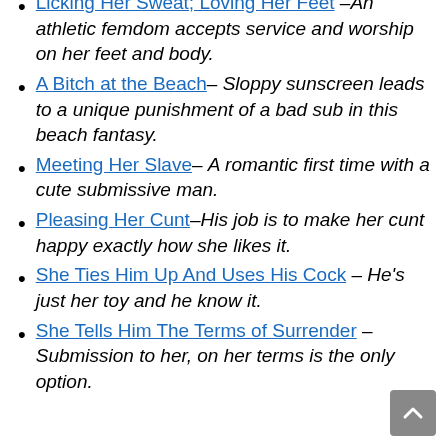Licking Her Sweat; Loving Her Feet – An athletic femdom accepts service and worship on her feet and body.
A Bitch at the Beach– Sloppy sunscreen leads to a unique punishment of a bad sub in this beach fantasy.
Meeting Her Slave– A romantic first time with a cute submissive man.
Pleasing Her Cunt–His job is to make her cunt happy exactly how she likes it.
She Ties Him Up And Uses His Cock – He's just her toy and he know it.
She Tells Him The Terms of Surrender – Submission to her, on her terms is the only option.